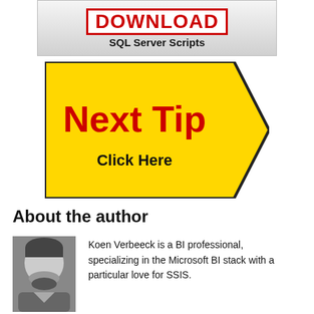[Figure (illustration): Download button graphic with red 'DOWNLOAD' text and 'SQL Server Scripts' label below on a grey gradient background]
[Figure (illustration): Yellow arrow/chevron shape with bold red 'Next Tip' text and black 'Click Here' text below, pointing right]
About the author
[Figure (photo): Black and white headshot photo of Koen Verbeeck]
Koen Verbeeck is a BI professional, specializing in the Microsoft BI stack with a particular love for SSIS.